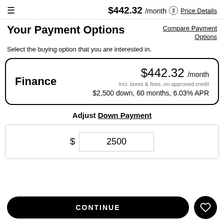≡  $442.32 /month  ⓢ Price Details
Your Payment Options
Compare Payment Options
Select the buying option that you are interested in.
Finance  $442.32 /month  incl. taxes & fees, on approved credit  $2,500 down, 60 months, 6.03% APR
Adjust Down Payment
$ 2500
CONTINUE